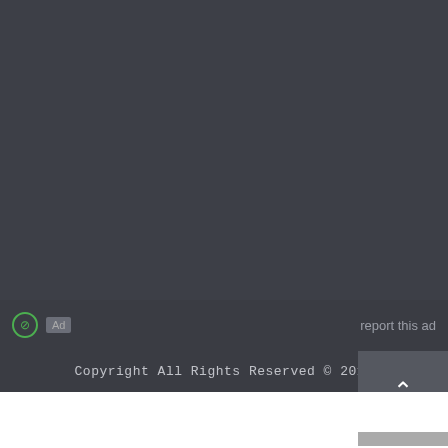[Figure (screenshot): Dark gray background area filling top portion of page, representing a webpage ad or content area]
report this ad
Copyright All Rights Reserved © 2017